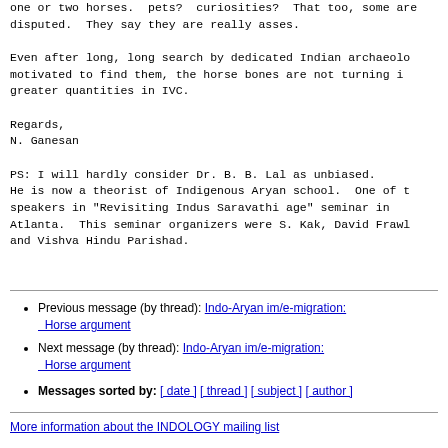one or two horses. pets? curiosities? That too, some are disputed. They say they are really asses.
Even after long, long search by dedicated Indian archaeologists motivated to find them, the horse bones are not turning in greater quantities in IVC.
Regards,
N. Ganesan
PS: I will hardly consider Dr. B. B. Lal as unbiased. He is now a theorist of Indigenous Aryan school. One of the speakers in "Revisiting Indus Saravathi age" seminar in Atlanta. This seminar organizers were S. Kak, David Frawley and Vishva Hindu Parishad.
Previous message (by thread): Indo-Aryan im/e-migration: Horse argument
Next message (by thread): Indo-Aryan im/e-migration: Horse argument
Messages sorted by: [ date ] [ thread ] [ subject ] [ author ]
More information about the INDOLOGY mailing list